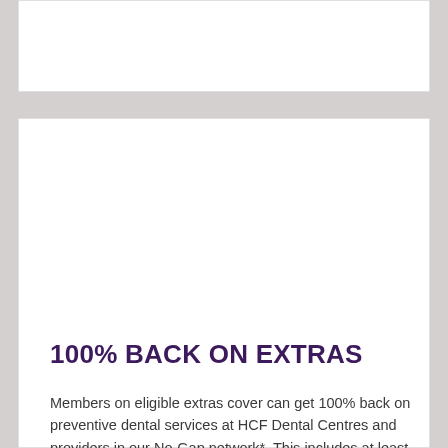[Figure (photo): White card/image area at top of page (partially visible, appears blank/cropped)]
[Figure (photo): Large white content card with blank upper area, containing insurance promotional text below]
100% BACK ON EXTRAS
Members on eligible extras cover can get 100% back on preventive dental services at HCF Dental Centres and providers in our No-Gap network*. This includes at least one annual check-up, scale and clean, and fluoride treatment. To see if you're eligible visit hcf.com.au/100back or call 13 13 34.